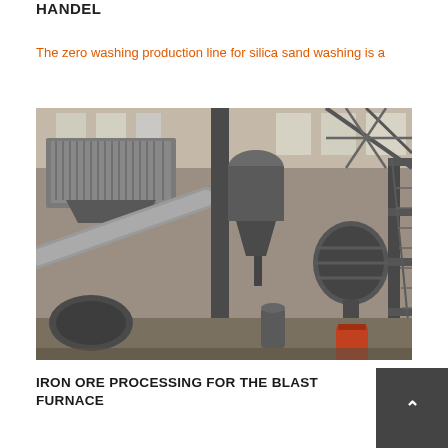HANDEL
The zero washing production line for silica sand washing is a
[Figure (photo): Industrial mineral processing facility interior showing large grinding mill equipment, metal framework structure, conveyor systems, and processing machinery inside a factory building]
IRON ORE PROCESSING FOR THE BLAST FURNACE